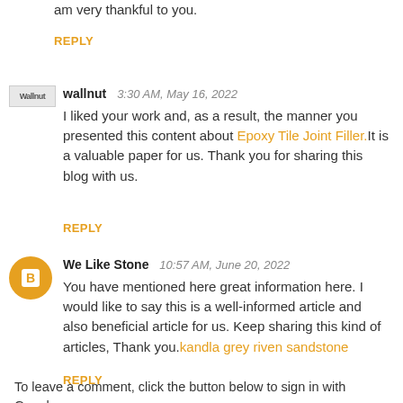am very thankful to you.
REPLY
wallnut  3:30 AM, May 16, 2022
I liked your work and, as a result, the manner you presented this content about Epoxy Tile Joint Filler.It is a valuable paper for us. Thank you for sharing this blog with us.
REPLY
We Like Stone  10:57 AM, June 20, 2022
You have mentioned here great information here. I would like to say this is a well-informed article and also beneficial article for us. Keep sharing this kind of articles, Thank you.kandla grey riven sandstone
REPLY
To leave a comment, click the button below to sign in with Google.